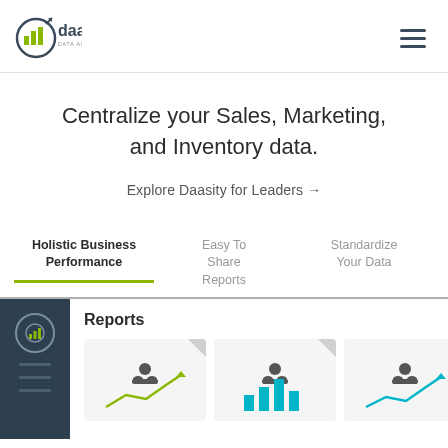[Figure (logo): Daasity logo with bar chart icon and text 'DATA AS A SERVICE']
Centralize your Sales, Marketing, and Inventory data.
Explore Daasity for Leaders →
Holistic Business Performance
Easy To Share Reports
Standardize Your Data
Reports
[Figure (screenshot): Three report card thumbnails with user icons and trend charts (green arrow, blue bar, teal arrow)]